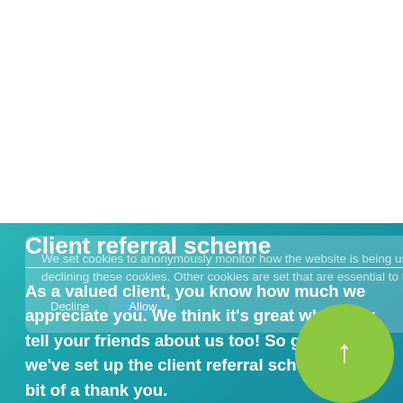[Figure (screenshot): White area representing top portion of a webpage]
Client referral scheme
As a valued client, you know how much we appreciate you. We think it's great when you tell your friends about us too! So great that we've set up the client referral scheme as a bit of a thank you.
We set cookies to anonymously monitor how the website is being used, so that we can make improvements. You can opt out by declining these cookies. Other cookies are set that are essential to the function of the website, and can't be removed.